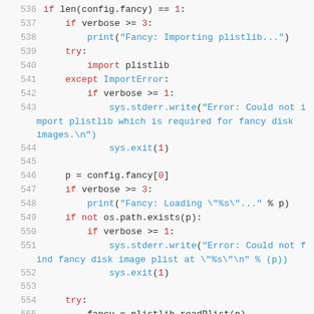[Figure (screenshot): Python source code snippet showing lines 536-555, with syntax highlighting. Line numbers in gray on the left, keywords in red, function calls and strings in blue, and regular identifiers in dark/black. The code handles fancy disk image loading with plistlib, including error checking for ImportError and file existence.]